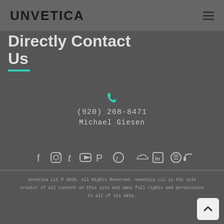UNVETICA
Directly Contact Us
(920) 268-8471
Michael Giesen
[Figure (infographic): Social media icons row: Facebook, Instagram, Twitter, YouTube, Pinterest, Reddit, SoundCloud, LinkedIn, Spotify, Headphones/podcast icon]
unvetica LLC © 2020. All Rights Reserved. unvetica LLC is the sole creator of all content on this site and owns full rights amd permissions to all of its data.